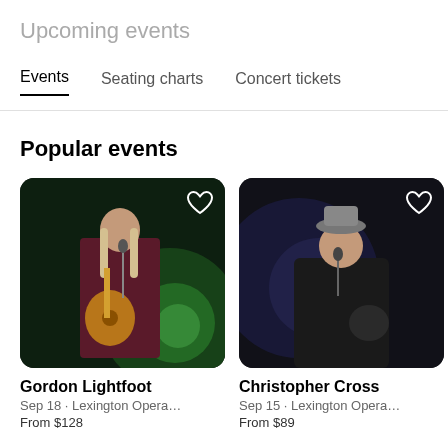Upcoming events
Events   Seating charts   Concert tickets
Popular events
[Figure (photo): Gordon Lightfoot performing on stage with acoustic guitar, wearing a red velvet jacket, green stage lighting]
Gordon Lightfoot
Sep 18 · Lexington Opera…
From $128
[Figure (photo): Christopher Cross singing into a microphone, wearing a grey hat and dark jacket]
Christopher Cross
Sep 15 · Lexington Opera…
From $89
[Figure (photo): Partially visible third artist performing, dark background]
Tro
Sep
From